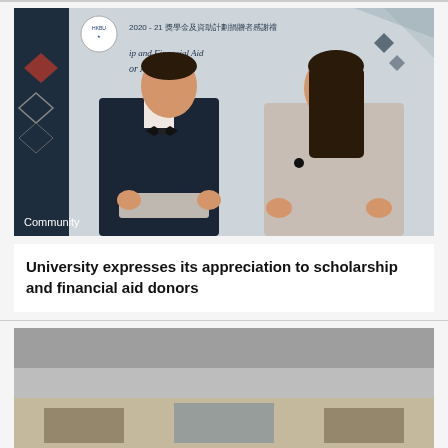[Figure (photo): Two students standing in front of a banner reading '2020-21 Scholarship and Financial Aid Donor Appreciation' in English and Chinese. The male student on the left wears a black suit with bow tie, the female student on the right wears a light grey blazer. A 'Community' label appears in the lower left of the image.]
University expresses its appreciation to scholarship and financial aid donors
[Figure (photo): Partially visible second photo at the bottom of the page, showing a grey/beige scene, cut off.]